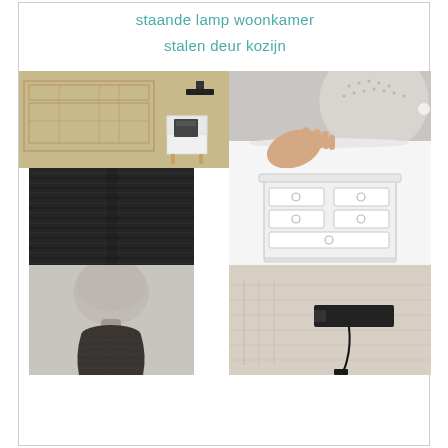staande lamp woonkamer
stalen deur kozijn
[Figure (photo): Bedroom furniture with wall-mounted lamp and white bedside table on natural wood legs, blueprint sketch in background]
[Figure (photo): Close-up of a hand touching a round fabric-covered smart speaker on a white surface]
[Figure (photo): Close-up of dark grey/black woven fabric texture]
[Figure (illustration): White chest of drawers with circular handles, multiple drawers, illustrated style]
[Figure (photo): Grey ceramic lamp base with dark woven fabric lower section]
[Figure (photo): Wall-mounted black rectangular lamp on beige wall with blueprint lines, with cable visible]